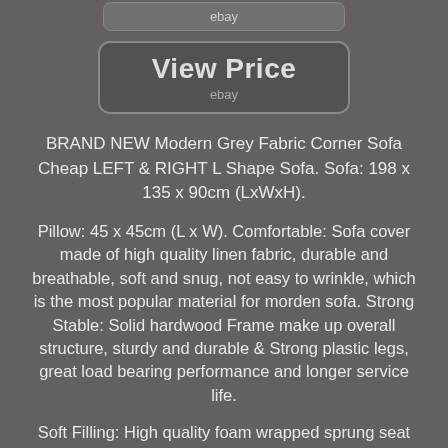[Figure (screenshot): eBay button at top, small grey rounded rectangle with 'ebay' text]
[Figure (screenshot): View Price button - large rounded grey rectangle with 'View Price' in large text and 'ebay' below]
BRAND NEW Modern Grey Fabric Corner Sofa Cheap LEFT & RIGHT L Shape Sofa. Sofa: 198 x 135 x 90cm (LxWxH).
Pillow: 45 x 45cm (L x W). Comfortable: Sofa cover made of high quality linen fabric, durable and breathable, soft and snug, not easy to wrinkle, which is the most popular material for morden sofa. Strong Stable: Solid hardwood Frame make up overall structure, sturdy and durable & Strong plastic legs, great load bearing performance and longer service life.
Soft Filling: High quality foam wrapped sprung seat cushions with added supportquick rebound. The pressure is